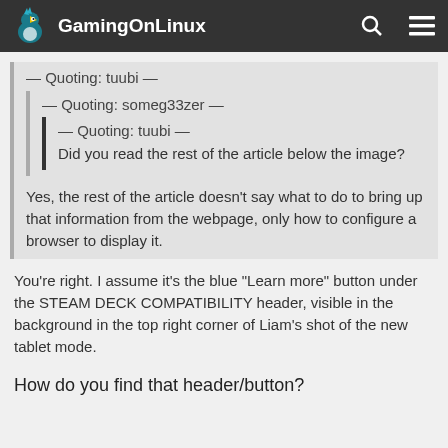GamingOnLinux
— Quoting: tuubi —
— Quoting: someg33zer —
— Quoting: tuubi —
Did you read the rest of the article below the image?
Yes, the rest of the article doesn't say what to do to bring up that information from the webpage, only how to configure a browser to display it.
You're right. I assume it's the blue "Learn more" button under the STEAM DECK COMPATIBILITY header, visible in the background in the top right corner of Liam's shot of the new tablet mode.
How do you find that header/button?